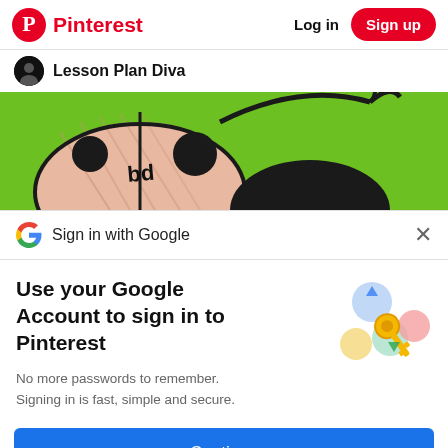Pinterest  Log in  Sign up
Lesson Plan Diva
[Figure (photo): Close-up photo of a hand-drawn ladybug on green background with black antennae, large pink-red body with black dots and the letters 'bd' written on the body]
Sign in with Google
Use your Google Account to sign in to Pinterest
No more passwords to remember.
Signing in is fast, simple and secure.
[Figure (illustration): Google sign-in illustration: a golden key surrounded by colorful circular icons in blue, green, yellow, and pink]
Continue